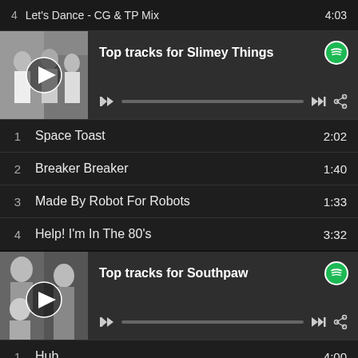4  Let's Dance - CG & TP Mix    4:03
Top tracks for Slimey Things
1  Space Toast  2:02
2  Breaker Breaker  1:40
3  Made By Robot For Robots  1:33
4  Help! I'm In The 80's  3:32
Top tracks for Southpaw
1  Hub  4:00
2  Come Thru  2:47
3  Coast to coast  3:55
4  Cooler Head Prevail  2:49